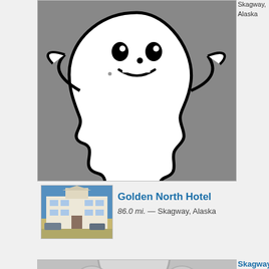Skagway, Alaska
[Figure (illustration): Cartoon ghost illustration on dark gray background, white ghost with black outline, smiling face, wavy bottom, two small dots below]
Golden North Hotel
86.0 mi. — Skagway, Alaska
[Figure (photo): Photo of Golden North Hotel building exterior with blue sky background]
[Figure (illustration): Faded ghost illustration on light gray background, partial view]
Skagway City Hall
86.0 mi. — Skagway,